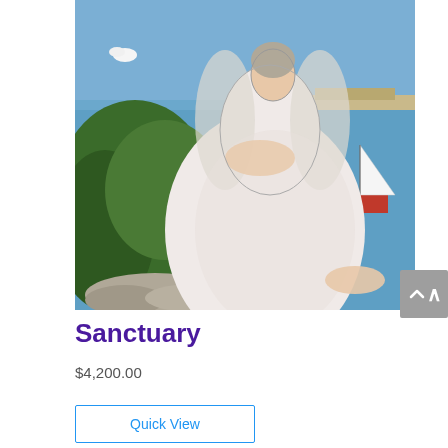[Figure (illustration): Painting titled 'Sanctuary' showing a large angelic or spiritual female figure in white dress seated near water, with folded hands, a lamb at her feet, dark green foliage on the left, a sailboat with red hull and white sail on the right side of the water, blue sky and distant shoreline in background.]
Sanctuary
$4,200.00
Quick View